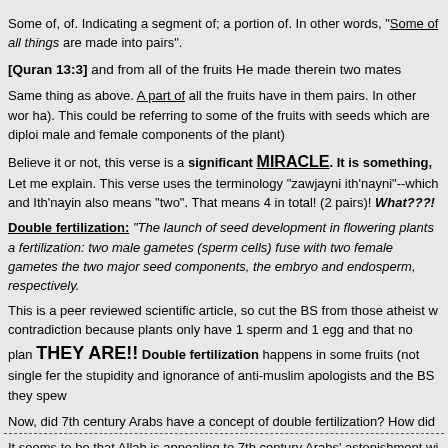Some of, of. Indicating a segment of; a portion of. In other words, "Some of all things are made into pairs".
[Quran 13:3] and from all of the fruits He made therein two mates
Same thing as above. A part of all the fruits have in them pairs. In other words (ha). This could be referring to some of the fruits with seeds which are diploi male and female components of the plant)
Believe it or not, this verse is a significant MIRACLE. It is something, Let me explain. This verse uses the terminology "zawjayni ith'nayni"--which and Ith'nayin also means "two". That means 4 in total! (2 pairs)! What???!
Double fertilization: "The launch of seed development in flowering plants fertilization: two male gametes (sperm cells) fuse with two female gametes the two major seed components, the embryo and endosperm, respectively.
This is a peer reviewed scientific article, so cut the BS from those atheist w contradiction because plants only have 1 sperm and 1 egg and that no plar THEY ARE!! Double fertilization happens in some fruits (not single fe the stupidity and ignorance of anti-muslim apologists and the BS they spew
Now, did 7th century Arabs have a concept of double fertilization? How did
It seems to be that Allah is appealing to 7th century Arabs' astonishment wi